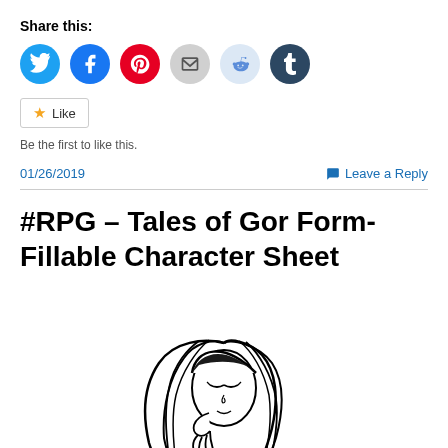Share this:
[Figure (infographic): Row of six social sharing icon buttons: Twitter (blue), Facebook (blue), Pinterest (red), Email (gray), Reddit (light blue), Tumblr (dark navy)]
Like  Be the first to like this.
01/26/2019   Leave a Reply
#RPG – Tales of Gor Form-Fillable Character Sheet
[Figure (illustration): Black and white illustration of a female character with long flowing hair, eyes partially closed, hand near mouth, in a stylized anime/comic art style.]